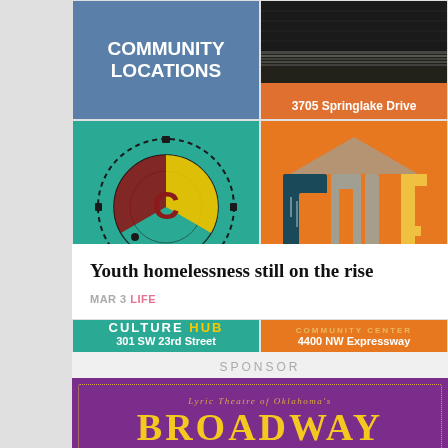[Figure (infographic): Community Locations header card in blue with white bold text reading COMMUNITY LOCATIONS]
[Figure (infographic): Orange card with patterned image at top and address 3705 Springlake Drive in white text]
[Figure (logo): Culture Hub logo on teal background with circular gear/letter C design. Text: CULTURE HUB, address 301 SW 23rd Street]
[Figure (logo): Cole Community Center logo on orange background with teal and grey building/letter C design. Text: COMMUNITY CENTER, address 4400 NW Expressway]
Youth homelessness still on the rise
MAR 3 LIFE
SPONSOR
[Figure (infographic): Purple advertisement for Lyric Theatre of Oklahoma's BROADWAY with gold dotted border and golden yellow text]